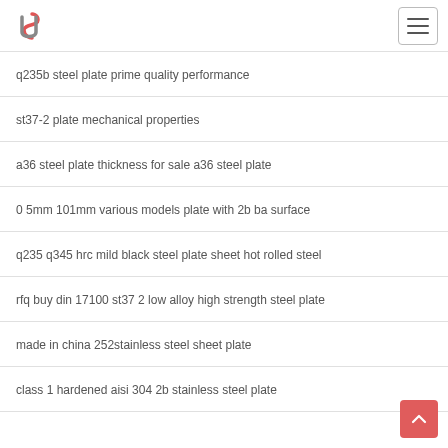Logo and navigation header
q235b steel plate prime quality performance
st37-2 plate mechanical properties
a36 steel plate thickness for sale a36 steel plate
0 5mm 101mm various models plate with 2b ba surface
q235 q345 hrc mild black steel plate sheet hot rolled steel
rfq buy din 17100 st37 2 low alloy high strength steel plate
made in china 252stainless steel sheet plate
class 1 hardened aisi 304 2b stainless steel plate